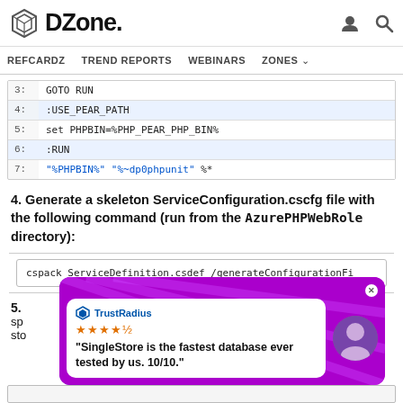DZone - REFCARDZ TREND REPORTS WEBINARS ZONES
[Figure (screenshot): Code block showing batch script lines 3-7 with :GOTO RUN, :USE_PEAR_PATH, set PHPBIN=%PHP_PEAR_PHP_BIN%, :RUN, and "%PHPBIN%" "%~dp0phpunit" %*]
4. Generate a skeleton ServiceConfiguration.cscfg file with the following command (run from the AzurePHPWebRole directory):
[Figure (screenshot): Command code box showing: cspack ServiceDefinition.csdef /generateConfigurationFi]
5. sp... sto...
[Figure (advertisement): TrustRadius advertisement for SingleStore: 'SingleStore is the fastest database ever tested by us. 10/10.' with star rating and person photo]